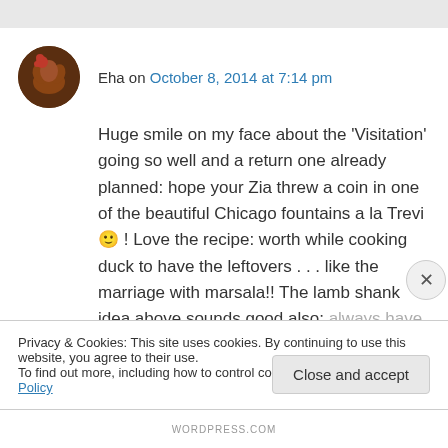Eha on October 8, 2014 at 7:14 pm
Huge smile on my face about the 'Visitation' going so well and a return one already planned: hope your Zia threw a coin in one of the beautiful Chicago fountains a la Trevi 🙂 ! Love the recipe: worth while cooking duck to have the leftovers . . . like the marriage with marsala!! The lamb shank idea above sounds good also: always have them in the house! Oh and I think
Privacy & Cookies: This site uses cookies. By continuing to use this website, you agree to their use.
To find out more, including how to control cookies, see here: Cookie Policy